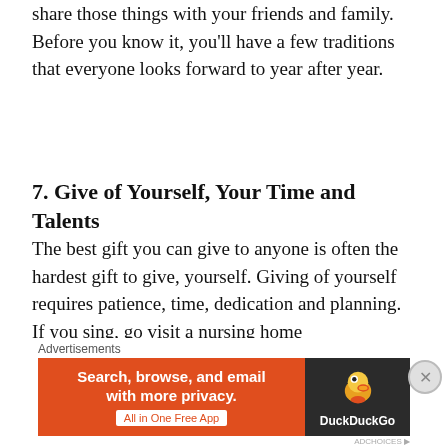share those things with your friends and family. Before you know it, you'll have a few traditions that everyone looks forward to year after year.
7. Give of Yourself, Your Time and Talents
The best gift you can give to anyone is often the hardest gift to give, yourself. Giving of yourself requires patience, time, dedication and planning. If you sing, go visit a nursing home
[Figure (other): DuckDuckGo advertisement banner: orange left panel with text 'Search, browse, and email with more privacy. All in One Free App', dark right panel with DuckDuckGo duck logo and 'DuckDuckGo' text.]